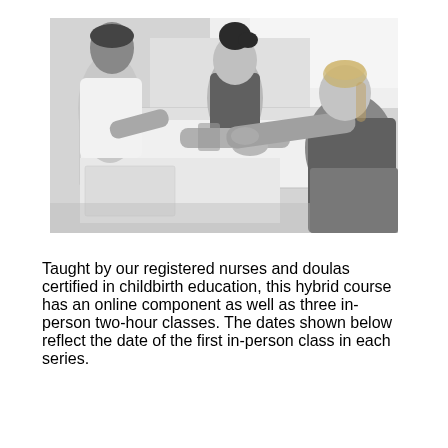[Figure (photo): Black and white photograph of a woman in labor leaning over a birthing tub, supported by a man on her left and a female healthcare provider (doula or nurse) on her right who is reaching across the tub edge.]
Taught by our registered nurses and doulas certified in childbirth education, this hybrid course has an online component as well as three in-person two-hour classes. The dates shown below reflect the date of the first in-person class in each series.